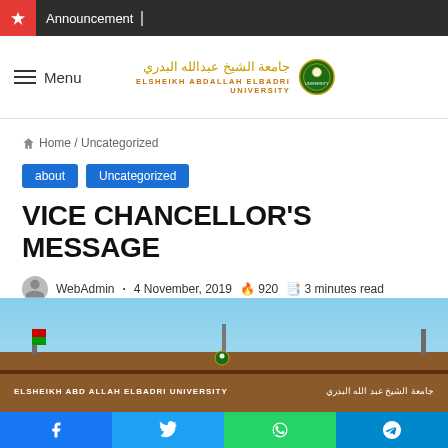Announcement ⚡
[Figure (logo): Elsheikh Abdallah Elbadri University logo with Arabic text and emblem]
≡ Menu
🏠 Home / Uncategorized
about
Uncategorized
VICE CHANCELLOR'S MESSAGE
WebAdmin · 4 November, 2019 🔥 920 📄 3 minutes read
[Figure (photo): Exterior photo of Elsheikh Abd Allah Elbadri University building with signage in English and Arabic]
Facebook | Twitter | WhatsApp | Telegram share buttons